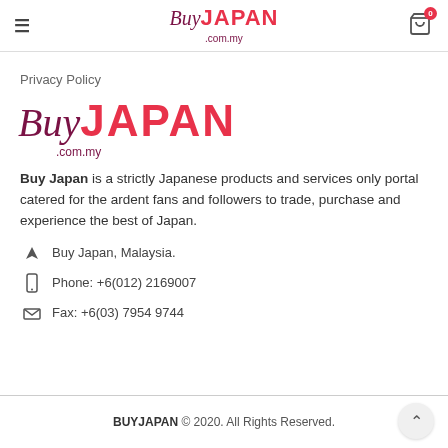BuyJAPAN.com.my — site header with hamburger menu and cart icon
Privacy Policy
[Figure (logo): BuyJAPAN.com.my logo — script 'Buy' in dark maroon italic, 'JAPAN' in bold red, '.com.my' in small maroon text]
Buy Japan is a strictly Japanese products and services only portal catered for the ardent fans and followers to trade, purchase and experience the best of Japan.
Buy Japan, Malaysia.
Phone: +6(012) 2169007
Fax: +6(03) 7954 9744
BUYJAPAN © 2020. All Rights Reserved.